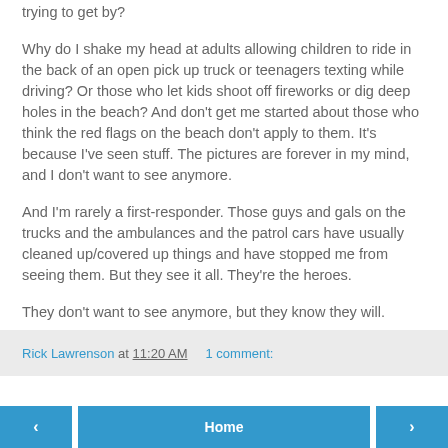trying to get by?
Why do I shake my head at adults allowing children to ride in the back of an open pick up truck or teenagers texting while driving? Or those who let kids shoot off fireworks or dig deep holes in the beach? And don't get me started about those who think the red flags on the beach don't apply to them. It's because I've seen stuff. The pictures are forever in my mind, and I don't want to see anymore.
And I'm rarely a first-responder. Those guys and gals on the trucks and the ambulances and the patrol cars have usually cleaned up/covered up things and have stopped me from seeing them. But they see it all. They're the heroes.
They don't want to see anymore, but they know they will.
Rick Lawrenson at 11:20 AM    1 comment:
‹  Home  ›